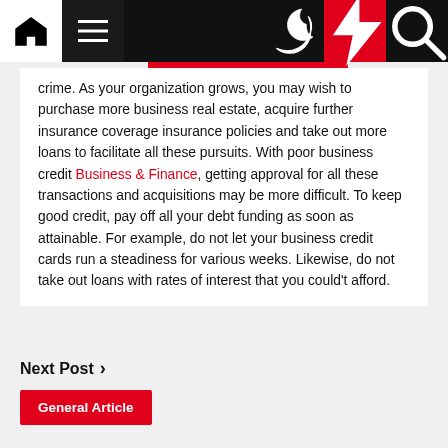[Navigation bar with home, menu, dark mode, lightning, search icons]
crime. As your organization grows, you may wish to purchase more business real estate, acquire further insurance coverage insurance policies and take out more loans to facilitate all these pursuits. With poor business credit Business & Finance, getting approval for all these transactions and acquisitions may be more difficult. To keep good credit, pay off all your debt funding as soon as attainable. For example, do not let your business credit cards run a steadiness for various weeks. Likewise, do not take out loans with rates of interest that you could't afford.
Next Post >
General Article